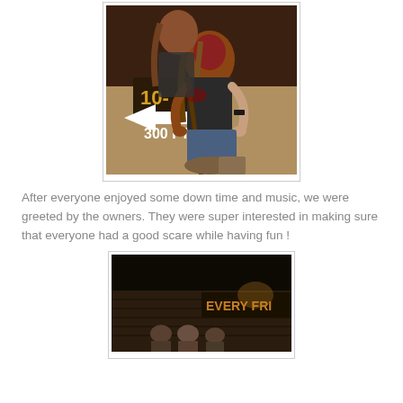[Figure (photo): A person in Halloween costume with red face paint and long hair crouching, holding a weapon/stick, with a sign reading '300 FT' visible in the background.]
After everyone enjoyed some down time and music, we were greeted by the owners. They were super interested in making sure that everyone had a good scare while having fun !
[Figure (photo): A dark nighttime photo of people standing in front of a building with a sign partially visible reading 'EVERY FRI...']